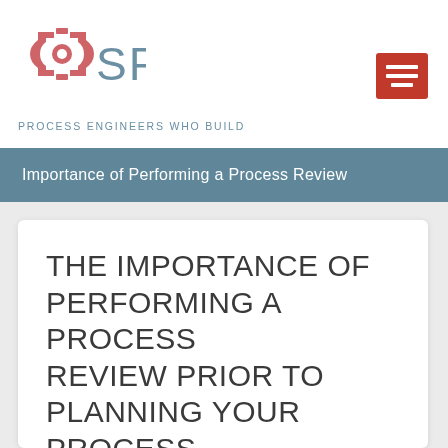[Figure (logo): SPEC logo with hexagonal gear icon in red/pink and SPEC text in slate blue, with tagline PROCESS ENGINEERS WHO BUILD]
[Figure (other): Red hamburger menu icon button]
Importance of Performing a Process Review
THE IMPORTANCE OF PERFORMING A PROCESS REVIEW PRIOR TO PLANNING YOUR PROCESS EXPANSION